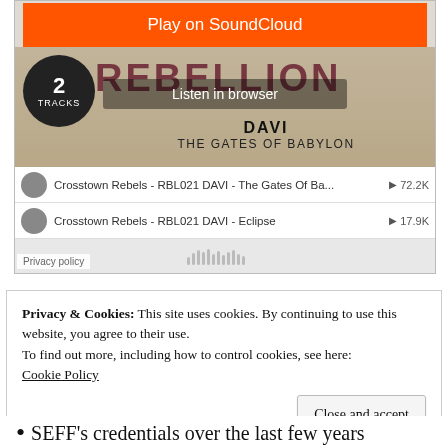[Figure (screenshot): SoundCloud embedded music player widget showing DAVI - The Gates Of Babylon / Rebellion EP with 2 tracks. Has orange 'Play on SoundCloud' button, 'Listen in browser' overlay, track list including 'Crosstown Rebels - RBL021 DAVI - The Gates Of Ba...' (72.2K plays) and 'Crosstown Rebels - RBL021 DAVI - Eclipse' (17.9K plays), SoundCloud logo, and Privacy policy label.]
Privacy & Cookies: This site uses cookies. By continuing to use this website, you agree to their use.
To find out more, including how to control cookies, see here:
Cookie Policy
Close and accept
SEFF's credentials over the last few years